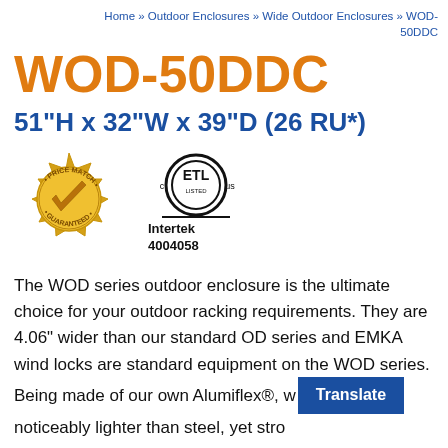Home » Outdoor Enclosures » Wide Outdoor Enclosures » WOD-50DDC
WOD-50DDC
51"H x 32"W x 39"D (26 RU*)
[Figure (logo): Gold 'Price Match Guaranteed' seal badge on the left, and ETL Listed certification mark with Intertek 4004058 on the right]
The WOD series outdoor enclosure is the ultimate choice for your outdoor racking requirements. They are 4.06" wider than our standard OD series and EMKA wind locks are standard equipment on the WOD series. Being made of our own Alumiflex®, w... noticeably lighter than steel, yet stro...k